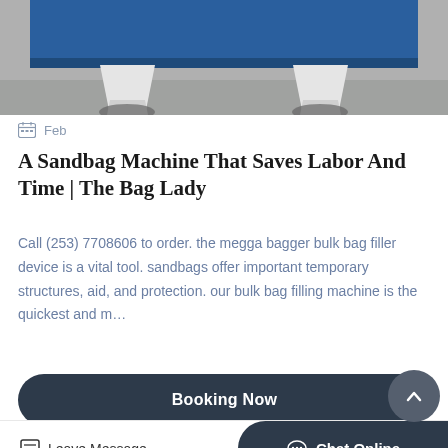[Figure (photo): Industrial sandbag filling machine with blue metal body and white legs on a concrete floor]
Feb
A Sandbag Machine That Saves Labor And Time | The Bag Lady
Call (253) 7708606 to order. the megga bagger bulk bag filler device is a vital tool. sandbags offer important temporary structures, aid, and protection. our bulk bag filling machine is the quickest and m…
Booking Now
[Figure (photo): Partial view of industrial equipment interior, bottom strip]
Leave Message
Chat Online